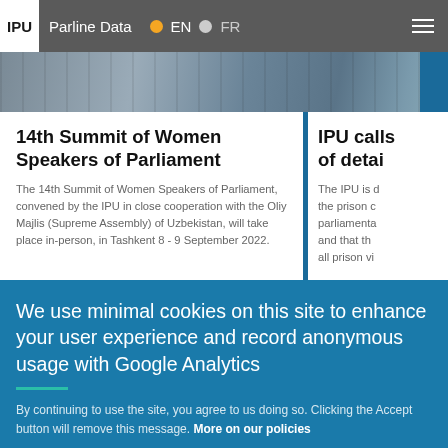IPU  Parline Data  EN  FR
[Figure (photo): Blurred background photo showing shelves or rows of items in a parliamentary/library setting, with a blue accent bar on the right]
14th Summit of Women Speakers of Parliament
The 14th Summit of Women Speakers of Parliament, convened by the IPU in close cooperation with the Oliy Majlis (Supreme Assembly) of Uzbekistan, will take place in-person, in Tashkent 8 - 9 September 2022.
IPU calls of detain
The IPU is d the prison c parliamenta and that th all prison vi
We use minimal cookies on this site to enhance your user experience and record anonymous usage with Google Analytics
By continuing to use the site, you agree to us doing so. Clicking the Accept button will remove this message. More on our policies
Accept